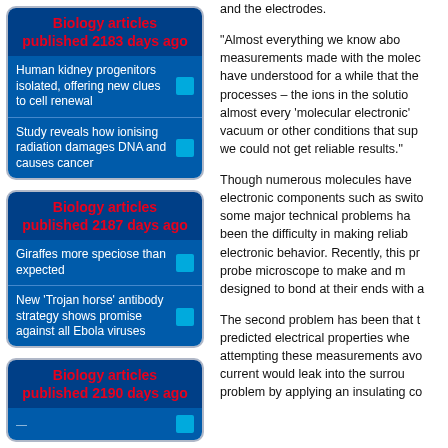Biology articles published 2183 days ago
Human kidney progenitors isolated, offering new clues to cell renewal
Study reveals how ionising radiation damages DNA and causes cancer
Biology articles published 2187 days ago
Giraffes more speciose than expected
New 'Trojan horse' antibody strategy shows promise against all Ebola viruses
Biology articles published 2190 days ago
and the electrodes.
“Almost everything we know abo… measurements made with the molec… have understood for a while that the… processes – the ions in the solutio… almost every ‘molecular electronic’… vacuum or other conditions that sup… we could not get reliable results.”
Though numerous molecules have… electronic components such as swito… some major technical problems ha… been the difficulty in making reliab… electronic behavior. Recently, this pr… probe microscope to make and m… designed to bond at their ends with a…
The second problem has been that t… predicted electrical properties whe… attempting these measurements avo… current would leak into the surrou… problem by applying an insulating co…